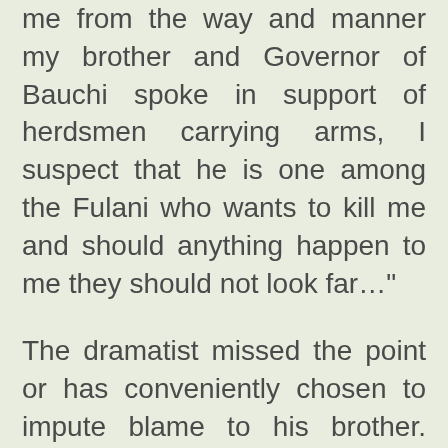me from the way and manner my brother and Governor of Bauchi spoke in support of herdsmen carrying arms, I suspect that he is one among the Fulani who wants to kill me and should anything happen to me they should not look far…"
The dramatist missed the point or has conveniently chosen to impute blame to his brother. Bala said herdsmen suffered a loss of their commonwealth